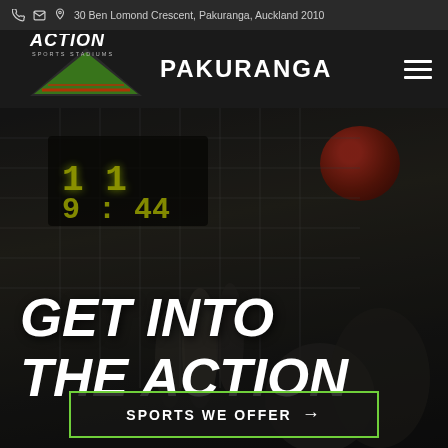30 Ben Lomond Crescent, Pakuranga, Auckland 2010
ACTION SPORTS STADIUMS PAKURANGA
[Figure (photo): Sports action photo showing players reaching for a red ball at a net, with a scoreboard visible in background. Dark overlay applied.]
GET INTO THE ACTION
SPORTS WE OFFER →